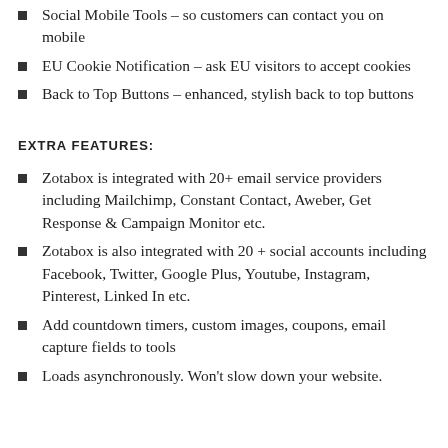Social Mobile Tools – so customers can contact you on mobile
EU Cookie Notification – ask EU visitors to accept cookies
Back to Top Buttons – enhanced, stylish back to top buttons
EXTRA FEATURES:
Zotabox is integrated with 20+ email service providers including Mailchimp, Constant Contact, Aweber, Get Response & Campaign Monitor etc.
Zotabox is also integrated with 20 + social accounts including Facebook, Twitter, Google Plus, Youtube, Instagram, Pinterest, Linked In etc.
Add countdown timers, custom images, coupons, email capture fields to tools
Loads asynchronously. Won't slow down your website.